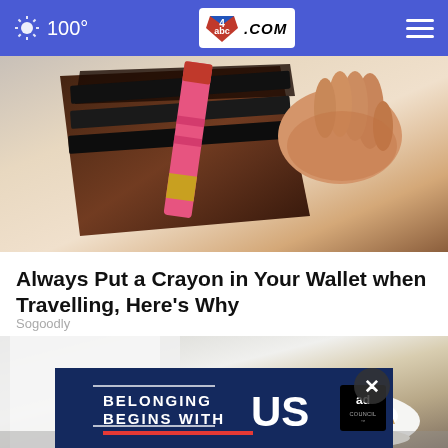100° abc4.com
[Figure (photo): Close-up of a hand holding an open wallet with a pink/red crayon inserted among black cards]
Always Put a Crayon in Your Wallet when Travelling, Here's Why
Sogoodly
[Figure (photo): Close-up of a person's legs in white pants wearing white slip-on shoes with tan/gold stud details on a pavement background]
[Figure (infographic): Ad Council advertisement banner: BELONGING BEGINS WITH US on dark blue background with red underline and Ad Council badge]